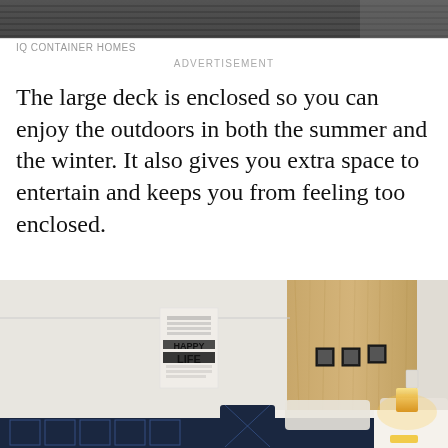[Figure (photo): Top portion of a container home showing a dark wooden deck/roof structure viewed from below at an angle]
IQ CONTAINER HOMES
ADVERTISEMENT
The large deck is enclosed so you can enjoy the outdoors in both the summer and the winter. It also gives you extra space to entertain and keeps you from feeling too enclosed.
[Figure (photo): Interior bedroom of a container home showing white walls, a large plywood wood-panel feature wall as headboard, a bed with dark patterned navy blue bedding, a wall poster reading HAPPY LIFE, small framed pictures on the wood panel, and a bedside lamp with warm yellow light]